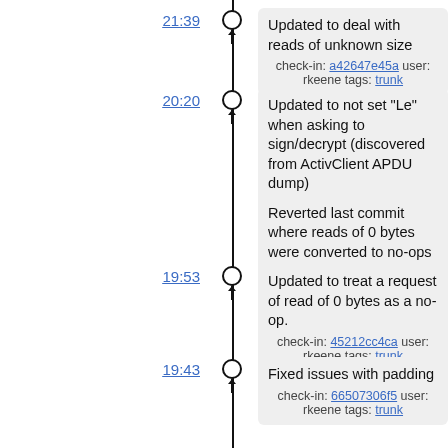21:39
Updated to deal with reads of unknown size
check-in: a42647e45a user: rkeene tags: trunk
20:20
Updated to not set "Le" when asking to sign/decrypt (discovered from ActivClient APDU dump)
Reverted last commit where reads of 0 bytes were converted to no-ops
check-in: f276873873 user: rkeene tags: trunk
19:53
Updated to treat a request of read of 0 bytes as a no-op.
check-in: 45212cc4ca user: rkeene tags: trunk
19:43
Fixed issues with padding
check-in: 66507306f5 user: rkeene tags: trunk
19:37
Updated to support determining key size from X.509 object (untested)
Updated to set HW TOKEN flag
Updated to pad sign/decrypt message to key